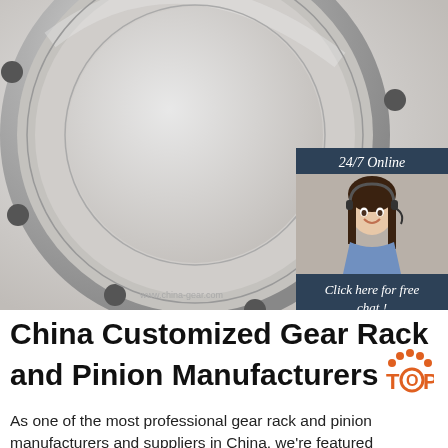[Figure (photo): Close-up photo of a large circular steel slewing ring/gear ring bearing with bolt holes, on a light gray background. An inset chat widget in the upper right shows '24/7 Online', a customer service representative with headset, 'Click here for free chat!' text, and an orange QUOTATION button.]
China Customized Gear Rack and Pinion Manufacturers
As one of the most professional gear rack and pinion manufacturers and suppliers in China, we're featured